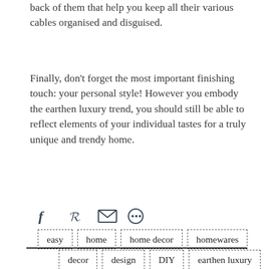back of them that help you keep all their various cables organised and disguised.
Finally, don’t forget the most important finishing touch: your personal style! However you embody the earthen luxury trend, you should still be able to reflect elements of your individual tastes for a truly unique and trendy home.
[Figure (other): Social sharing icons: Facebook (f), Pinterest (P), Email (envelope), More (share/circle with dots)]
decor
design
DIY
earthen luxury
easy
home
home decor
homewares